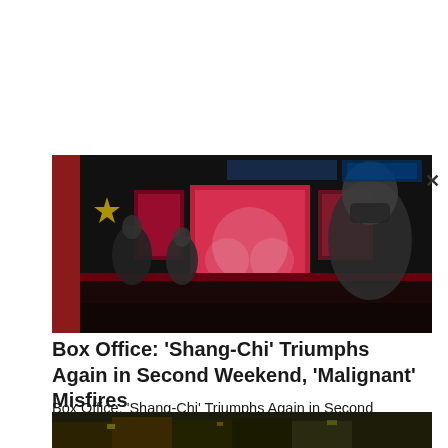[Figure (photo): Interior of a movie theater lobby with people wearing masks, red decorations and a star visible, and movie posters in the background.]
Box Office: 'Shang-Chi' Triumphs Again in Second Weekend, 'Malignant' Misfires
Box Office: 'Shang-Chi' Triumphs Again in Second Weekend, 'Malignant' Misfires
12/9/2021 8:06:00 PM
Read more...
[Figure (photo): A dark crowd scene image partially visible at the bottom of the page.]